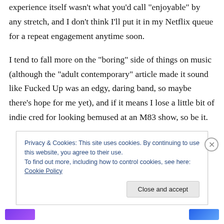experience itself wasn’t what you’d call “enjoyable” by any stretch, and I don’t think I’ll put it in my Netflix queue for a repeat engagement anytime soon.
I tend to fall more on the “boring” side of things on music (although the “adult contemporary” article made it sound like Fucked Up was an edgy, daring band, so maybe there’s hope for me yet), and if it means I lose a little bit of indie cred for looking bemused at an M83 show, so be it.
Privacy & Cookies: This site uses cookies. By continuing to use this website, you agree to their use.
To find out more, including how to control cookies, see here: Cookie Policy